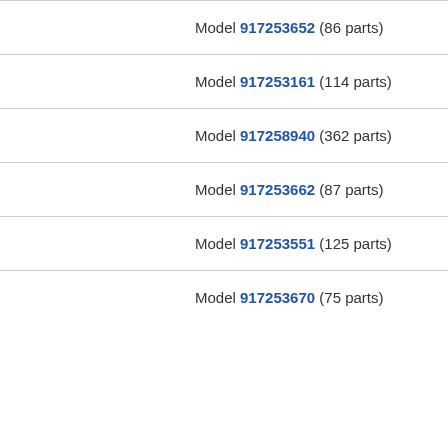Model 917253652 (86 parts)
Model 917253161 (114 parts)
Model 917258940 (362 parts)
Model 917253662 (87 parts)
Model 917253551 (125 parts)
Model 917253670 (75 parts)